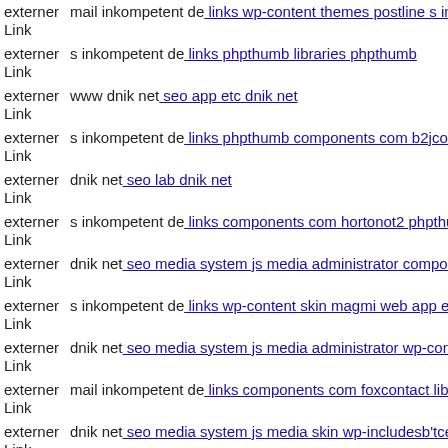externer Link mail inkompetent de: links wp-content themes postline s inkompetent de
externer Link s inkompetent de: links phpthumb libraries phpthumb
externer Link www dnik net: seo app etc dnik net
externer Link s inkompetent de: links phpthumb components com b2jcontact
externer Link dnik net: seo lab dnik net
externer Link s inkompetent de: links components com hortonot2 phpthumb
externer Link dnik net: seo media system js media administrator components
externer Link s inkompetent de: links wp-content skin magmi web app etc
externer Link dnik net: seo media system js media administrator wp-content
externer Link mail inkompetent de: links components com foxcontact lib
externer Link dnik net: seo media system js media skin wp-includesb'tceg
externer Link dnik net: seo media system js media from ref